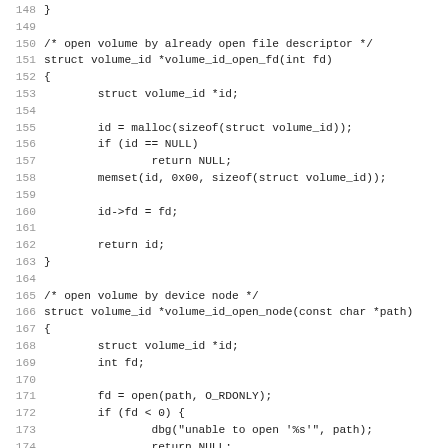Source code listing, lines 148-179, showing C functions volume_id_open_fd and volume_id_open_node